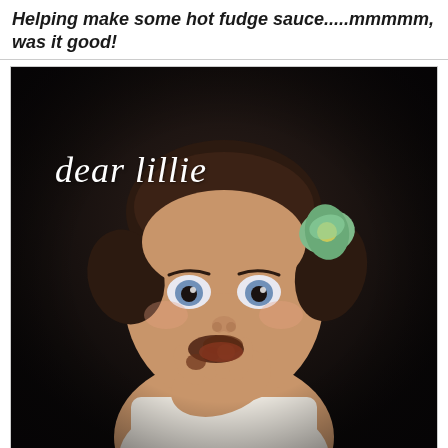Helping make some hot fudge sauce.....mmmmm, was it good!
[Figure (photo): A young toddler girl with pigtails and a green floral hair bow, wearing a white sleeveless top, licking chocolate/hot fudge off her hand and fingers. Dark background. The words 'dear lillie' appear in white cursive script overlay in the upper left area of the photo.]